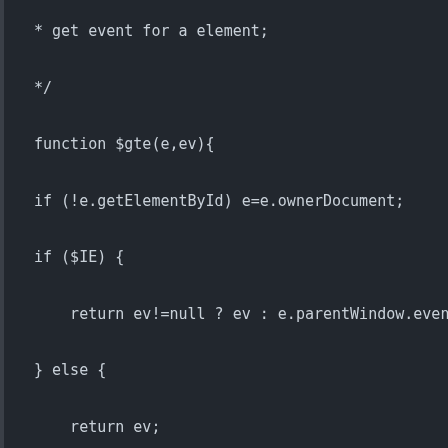[Figure (screenshot): Code editor screenshot showing JavaScript code with a dark background. Code includes a comment '* get event for a element;', closing comment '*/', function definition '$gte(e,ev){', conditional checks for getElementById and $IE, return statements, and a throw statement.]